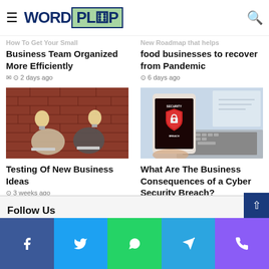WORDPLOP
How To Get Your Small Business Team Organized More Efficiently
2 days ago
New Roadmap that helps food businesses to recover from Pandemic
6 days ago
[Figure (photo): Two people sitting back-to-back against a brick wall, heads replaced by lightbulbs, working on laptops]
Testing Of New Business Ideas
3 weeks ago
[Figure (photo): Hand holding a smartphone showing a Security Breach warning screen, with a laptop keyboard in the background]
What Are The Business Consequences of a Cyber Security Breach?
4 weeks ago
Follow Us